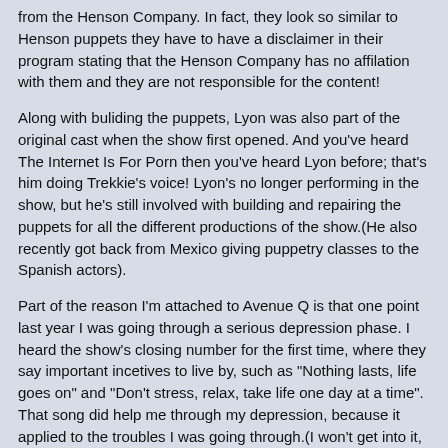from the Henson Company. In fact, they look so similar to Henson puppets they have to have a disclaimer in their program stating that the Henson Company has no affilation with them and they are not responsible for the content!
Along with buliding the puppets, Lyon was also part of the original cast when the show first opened. And you've heard The Internet Is For Porn then you've heard Lyon before; that's him doing Trekkie's voice! Lyon's no longer performing in the show, but he's still involved with building and repairing the puppets for all the different productions of the show.(He also recently got back from Mexico giving puppetry classes to the Spanish actors).
Part of the reason I'm attached to Avenue Q is that one point last year I was going through a serious depression phase. I heard the show's closing number for the first time, where they say important incetives to live by, such as "Nothing lasts, life goes on" and "Don't stress, relax, take life one day at a time". That song did help me through my depression, because it applied to the troubles I was going through.(I won't get into it, but I had it pretty rough last year for a while).
I did finally get to see it three weeks ago when it came around here, and I really enjoyed it. Even though the best stuff like Internet is for Porn have been spoiled through all the memes(Personally, that song never gets old for me), people still laugh their asses off at it and it still continues to be a